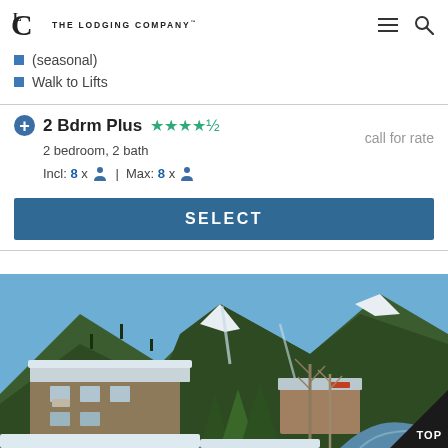The Lodging Company
(seasonal)
Walk to Lifts
2 Bdrm Plus ★★★★½
2 bedroom, 2 bath
Incl: 8 x 👤 | Max: 8 x 👤
call for rate
SELECT
[Figure (photo): Exterior of a ski lodge/chalet in winter with snow-covered roofs, evergreen trees, bare aspens, a creek, and a mountain with ski runs in the background under a clear blue sky.]